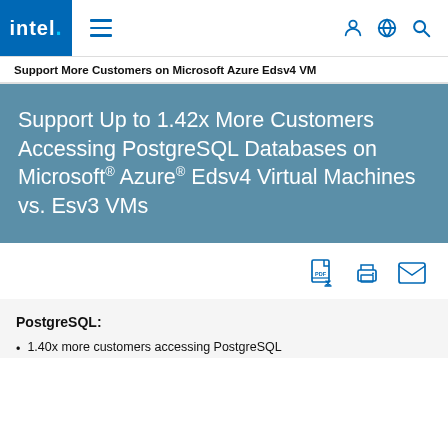[Figure (logo): Intel logo - blue square with 'intel.' text in white]
Support More Customers on Microsoft Azure Edsv4 VM
Support Up to 1.42x More Customers Accessing PostgreSQL Databases on Microsoft® Azure® Edsv4 Virtual Machines vs. Esv3 VMs
PostgreSQL:
1.40x more customers accessing PostgreSQL